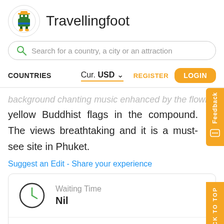[Figure (logo): Travellingfoot robot mascot logo in a circle]
Travellingfoot
Search for a country, a city or an attraction
COUNTRIES
Cur. USD
REGISTER
LOGIN
yellow Buddhist flags in the compound. The views breathtaking and it is a must-see site in Phuket.
Suggest an Edit - Share your experience
Waiting Time
Nil
Entrance Fee